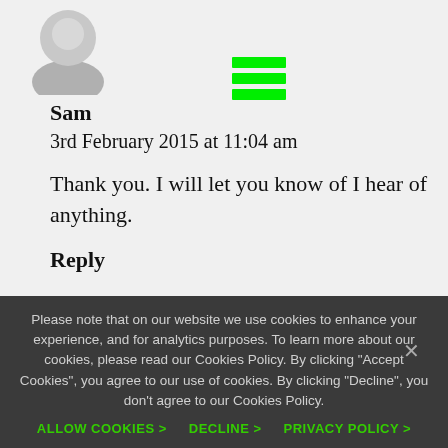[Figure (illustration): Gray placeholder avatar icon (person silhouette) in top-left area]
[Figure (illustration): Green hamburger menu icon (three horizontal green lines)]
Sam
3rd February 2015 at 11:04 am
Thank you. I will let you know of I hear of anything.
Reply
[Figure (illustration): Second gray placeholder avatar icon (person silhouette), partially visible]
Please note that on our website we use cookies to enhance your experience, and for analytics purposes. To learn more about our cookies, please read our Cookies Policy. By clicking "Accept Cookies", you agree to our use of cookies. By clicking "Decline", you don't agree to our Cookies Policy.
ALLOW COOKIES >   DECLINE >   PRIVACY POLICY >